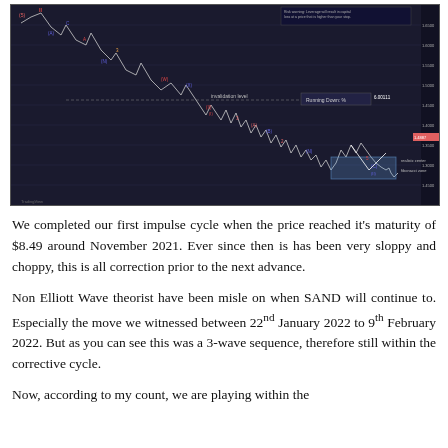[Figure (continuous-plot): Elliott Wave labeled price chart of SAND cryptocurrency showing impulse waves and corrective cycles with wave labels (A), (B), (C), (W), (X), (Y), (Z), (IV), (V) etc. Chart shows price from high around $8.49 in November 2021 declining in corrective pattern. A blue shaded target zone is visible on the right side near the bottom. Labels include 'Running Down: %', 'invalidation level', and price levels on right axis. TradingView watermark visible at bottom left.]
We completed our first impulse cycle when the price reached it's maturity of $8.49 around November 2021. Ever since then is has been very sloppy and choppy, this is all correction prior to the next advance.
Non Elliott Wave theorist have been misle on when SAND will continue to. Especially the move we witnessed between 22nd January 2022 to 9th February 2022. But as you can see this was a 3-wave sequence, therefore still within the corrective cycle.
Now, according to my count, we are playing within the